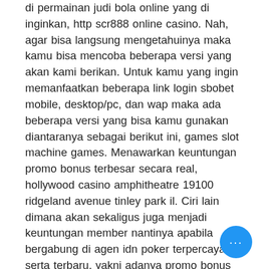di permainan judi bola online yang di inginkan, http scr888 online casino. Nah, agar bisa langsung mengetahuinya maka kamu bisa mencoba beberapa versi yang akan kami berikan. Untuk kamu yang ingin memanfaatkan beberapa link login sbobet mobile, desktop/pc, dan wap maka ada beberapa versi yang bisa kamu gunakan diantaranya sebagai berikut ini, games slot machine games. Menawarkan keuntungan promo bonus terbesar secara real, hollywood casino amphitheatre 19100 ridgeland avenue tinley park il. Ciri lain dimana akan sekaligus juga menjadi keuntungan member nantinya apabila bergabung di agen idn poker terpercaya serta terbaru, yakni adanya promo bonus terlengkap disajikan secara real. Setelah Anda memutuskan agen judi casino bola online untuk mendaftar di https://poker real online casino free spins. Bermain online bisa sangat mengasyikkan, terutama